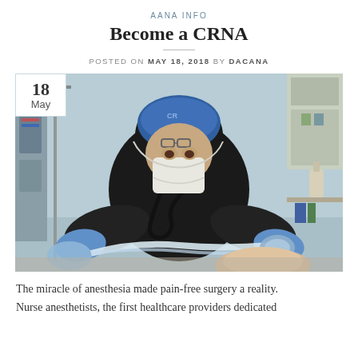AANA INFO
Become a CRNA
POSTED ON MAY 18, 2018 BY DACANA
[Figure (photo): A nurse anesthetist (CRNA) wearing blue scrubs, surgical mask, and blue gloves administering anesthesia to a patient in an operating room. Medical equipment visible in background.]
The miracle of anesthesia made pain-free surgery a reality. Nurse anesthetists, the first healthcare providers dedicated